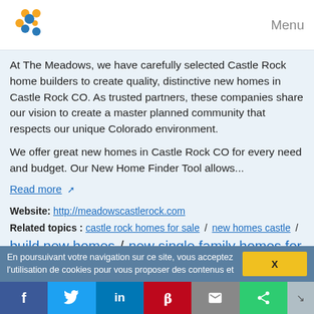Menu
At The Meadows, we have carefully selected Castle Rock home builders to create quality, distinctive new homes in Castle Rock CO. As trusted partners, these companies share our vision to create a master planned community that respects our unique Colorado environment.
We offer great new homes in Castle Rock CO for every need and budget. Our New Home Finder Tool allows...
Read more
Website: http://meadowscastlerock.com
Related topics : castle rock homes for sale / new homes castle / build new homes / new single family homes for sale / new single family homes
Pagosa Springs Real Estate | Colorado Ranches For Sale
View Our Advanced Search
En poursuivant votre navigation sur ce site, vous acceptez l'utilisation de cookies pour vous proposer des contenus et
X